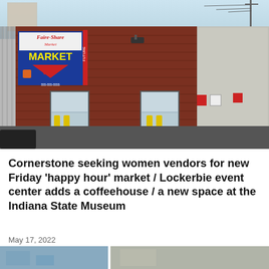[Figure (photo): Exterior photo of a brick commercial building with a blue 'Faire-Share Market' sign with a red downward arrow. Two windows/doors with yellow bollards visible. Right side has a white/gray panel. Parking lot in foreground.]
Cornerstone seeking women vendors for new Friday 'happy hour' market / Lockerbie event center adds a coffeehouse / a new space at the Indiana State Museum
May 17, 2022
[Figure (photo): Partial bottom strip showing two photos side by side: a blue-toned building exterior on the left, and a grayish structure on the right.]